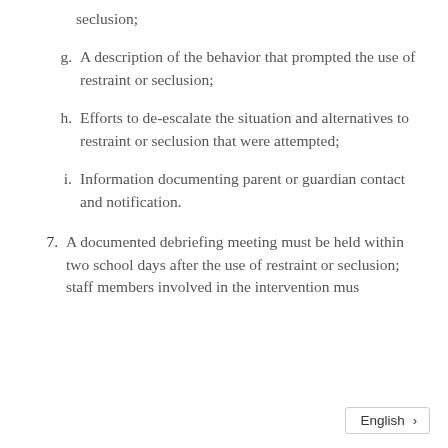seclusion;
g. A description of the behavior that prompted the use of restraint or seclusion;
h. Efforts to de-escalate the situation and alternatives to restraint or seclusion that were attempted;
i. Information documenting parent or guardian contact and notification.
7. A documented debriefing meeting must be held within two school days after the use of restraint or seclusion; staff members involved in the intervention must be included in the meeting. The debriefing...